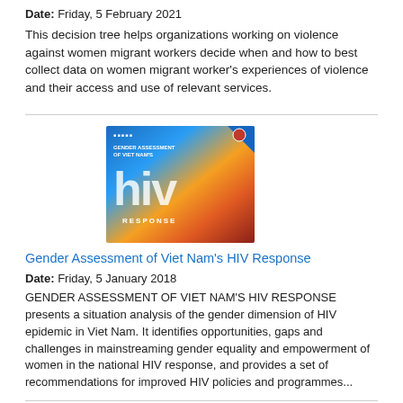Date: Friday, 5 February 2021
This decision tree helps organizations working on violence against women migrant workers decide when and how to best collect data on women migrant worker's experiences of violence and their access and use of relevant services.
[Figure (photo): Book cover of 'Gender Assessment of Viet Nam's HIV Response' showing colorful abstract design with large 'hiv' text]
Gender Assessment of Viet Nam's HIV Response
Date: Friday, 5 January 2018
GENDER ASSESSMENT OF VIET NAM'S HIV RESPONSE presents a situation analysis of the gender dimension of HIV epidemic in Viet Nam. It identifies opportunities, gaps and challenges in mainstreaming gender equality and empowerment of women in the national HIV response, and provides a set of recommendations for improved HIV policies and programmes...